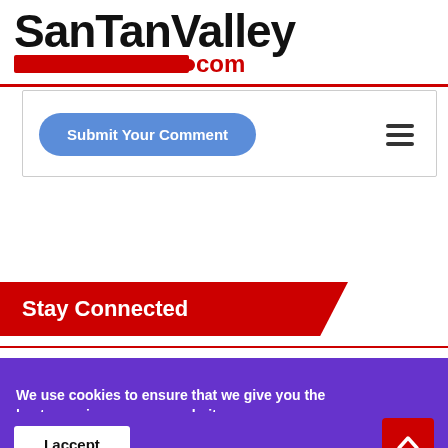SanTanValley.com
[Figure (screenshot): Submit Your Comment button with hamburger menu icon inside a comment form area]
Stay Connected
We use cookies to ensure that we give you the best experience on our website.
I accept